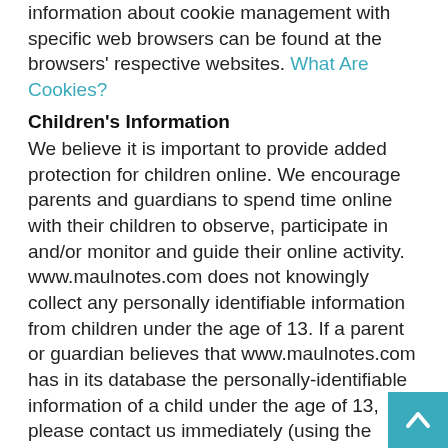information about cookie management with specific web browsers can be found at the browsers' respective websites. What Are Cookies?
Children's Information
We believe it is important to provide added protection for children online. We encourage parents and guardians to spend time online with their children to observe, participate in and/or monitor and guide their online activity. www.maulnotes.com does not knowingly collect any personally identifiable information from children under the age of 13. If a parent or guardian believes that www.maulnotes.com has in its database the personally-identifiable information of a child under the age of 13, please contact us immediately (using the contact in the first paragraph) and we will use our best efforts to promptly remove such information from our records.
Online Privacy Policy Only
This privacy policy applies only to our online activities and is valid for visitors to our website and regarding